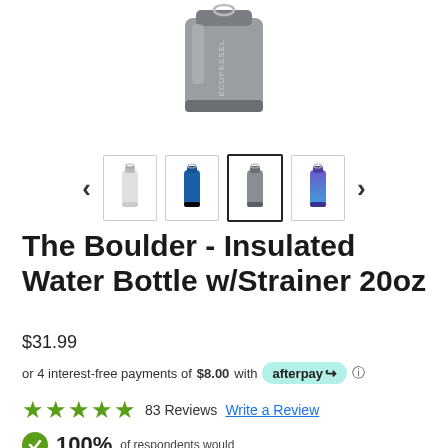[Figure (photo): Gray insulated water bottle with strainer, shown from above on white background]
[Figure (screenshot): Thumbnail image carousel showing 4 water bottle color variants (white, blue, gray selected, purple) with left and right navigation arrows]
The Boulder - Insulated Water Bottle w/Strainer 20oz
$31.99
or 4 interest-free payments of $8.00 with afterpay ℹ
★★★★★ 83 Reviews  Write a Review
100% of respondents would